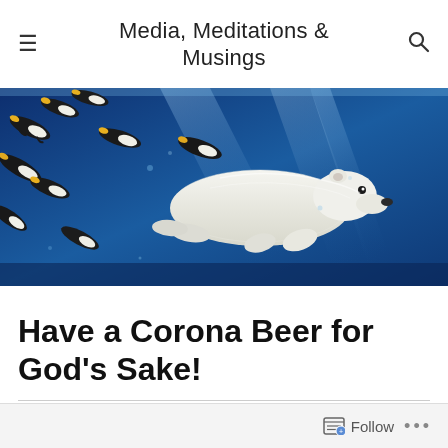Media, Meditations & Musings
[Figure (illustration): Polar bear and penguins swimming underwater against a deep blue background, viewed from below. Multiple penguins dart diagonally across the scene while a large white polar bear swims horizontally to the right with sunlight streaming through the water.]
Have a Corona Beer for God's Sake!
Follow ...